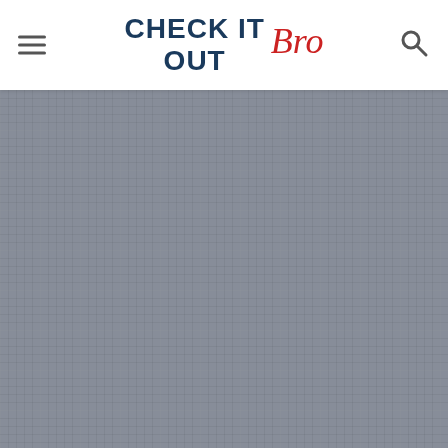CHECK IT OUT Bro
[Figure (other): Gray textured/grid background content area below the site header, appearing to be a loading or placeholder image area with a muted blue-gray grid pattern.]